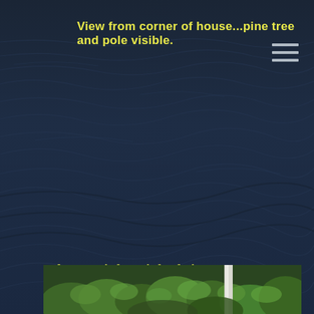[Figure (photo): Dark navy blue water surface with rippling waves, filling most of the page as background image.]
View from corner of house...pine tree and pole visible.
Approach from left of pine tree .
[Figure (photo): Partial view of a photo strip at the bottom showing green trees/foliage and what appears to be a white pole or post.]